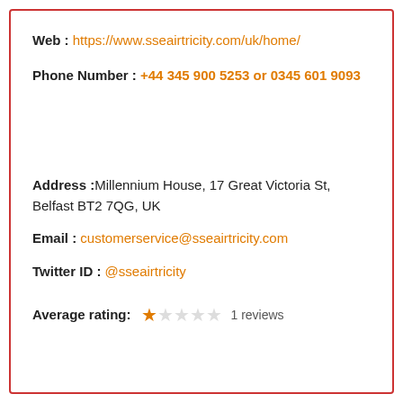Web : https://www.sseairtricity.com/uk/home/
Phone Number : +44 345 900 5253 or 0345 601 9093
Address : Millennium House, 17 Great Victoria St, Belfast BT2 7QG, UK
Email : customerservice@sseairtricity.com
Twitter ID : @sseairtricity
Average rating: ★☆☆☆☆ 1 reviews